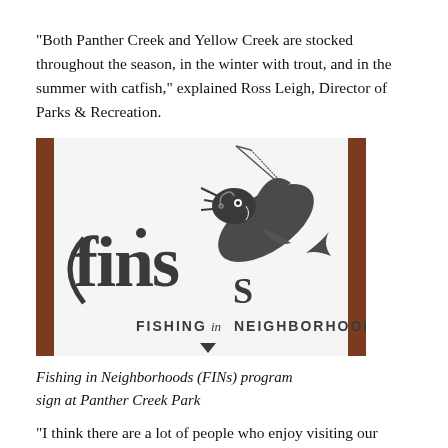“Both Panther Creek and Yellow Creek are stocked throughout the season, in the winter with trout, and in the summer with catfish,” explained Ross Leigh, Director of Parks & Recreation.
[Figure (photo): A sign for the FINs (Fishing in Neighborhoods) program showing a fish jumping with a fishing rod and the text 'fins FISHING in NEIGHBORHOODS' on a white background with brown wooden borders.]
Fishing in Neighborhoods (FINs) program sign at Panther Creek Park
“I think there are a lot of people who enjoy visiting our parks and knowing they are a healthy environment to catch a good number of fish on a regular basis,” he